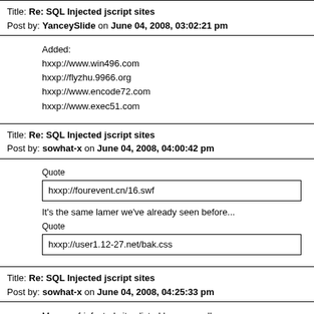Title: Re: SQL Injected jscript sites
Post by: YanceySlide on June 04, 2008, 03:02:21 pm
Added:
hxxp://www.win496.com
hxxp://flyzhu.9966.org
hxxp://www.encode72.com
hxxp://www.exec51.com
Title: Re: SQL Injected jscript sites
Post by: sowhat-x on June 04, 2008, 04:00:42 pm
Quote
hxxp://fourevent.cn/16.swf
It's the same lamer we've already seen before...
Quote
hxxp://user1.12-27.net/bak.css
Title: Re: SQL Injected jscript sites
Post by: sowhat-x on June 04, 2008, 04:25:33 pm
Many swf-infected sites listed here as well...
(JohnC,here comes some extra work,lol!  :D )
http://ilion.blog47.fc2.com/blog-entry-46.html
http://ilion.blog47.fc2.com/blog-entry-47.html